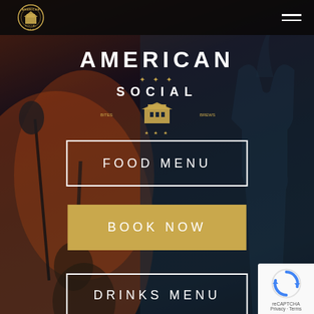[Figure (screenshot): Website screenshot of American Social bar/restaurant. Dark moody background showing Statue of Liberty silhouette and bar scene. Top navigation bar with American Social logo and hamburger menu. Central hero logo reads AMERICAN SOCIAL with gold star decorations. Three call-to-action buttons: FOOD MENU (outlined), BOOK NOW (gold filled), DRINKS MENU (outlined). reCAPTCHA badge in bottom right corner.]
American Social
AMERICAN
SOCIAL
FOOD MENU
BOOK NOW
DRINKS MENU
Privacy · Terms